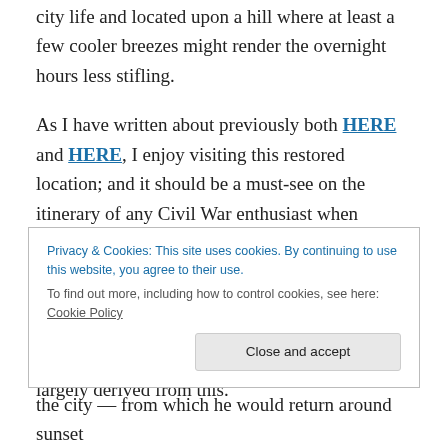city life and located upon a hill where at least a few cooler breezes might render the overnight hours less stifling.
As I have written about previously both HERE and HERE, I enjoy visiting this restored location; and it should be a must-see on the itinerary of any Civil War enthusiast when coming to Washington. The best written piece on the subject is by Dickinson College professor Matthew Pinsker with his book Lincoln's Sanctuary: Abraham Lincoln and the Soldiers' Home. The following couple of stories are largely derived from this.
Privacy & Cookies: This site uses cookies. By continuing to use this website, you agree to their use. To find out more, including how to control cookies, see here: Cookie Policy
the city — from which he would return around sunset